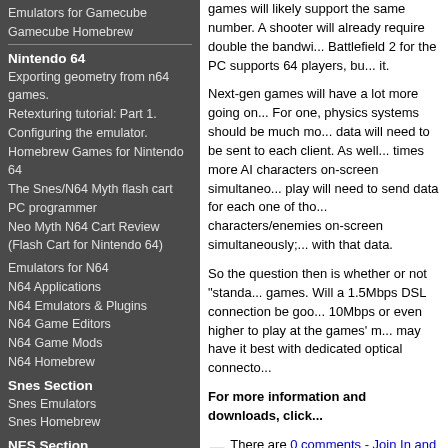Emulators for Gamecube Gamecube Homebrew
Nintendo 64
Exporting geometry from n64 games.
Retexturing tutorial: Part 1. Configuring the emulator.
Homebrew Games for Nintendo 64
The Snes/N64 Myth flash cart PC programmer
Neo Myth N64 Cart Review (Flash Cart for Nintendo 64)
Emulators for N64
N64 Applications
N64 Emulators & Plugins
N64 Game Editors
N64 Game Mods
N64 Homebrew
Snes Section
Snes Emulators
Snes Homebrew
NES Section
Nes Emulators
Nes Homebrew
GBA Links
GBA Roms
GBA/Nintendo Movie Player Firmware
games will likely support the same number. A shooter will already require double the bandwidth. Battlefield 2 for the PC supports 64 players, but it.
Next-gen games will have a lot more going on. For one, physics systems should be much more data will need to be sent to each client. As well times more AI characters on-screen simultaneously play will need to send data for each one of those characters/enemies on-screen simultaneously; with that data.
So the question then is whether or not "standa games. Will a 1.5Mbps DSL connection be good 10Mbps or even higher to play at the games' m may have it best with dedicated optical connecto
For more information and downloads, click
There are 0 comments - Join In and Disco
[Figure (other): 300x250uk advertisement banner image]